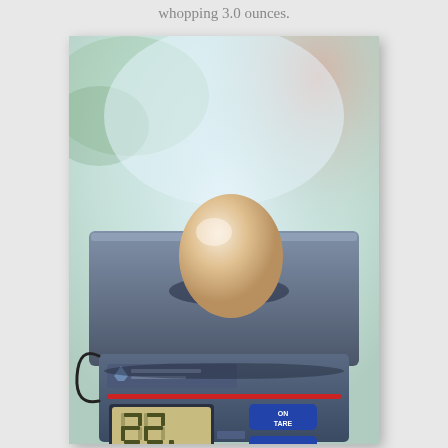whopping 3.0 ounces.
[Figure (photo): A photograph of an egg sitting on top of a United States Postal Service (USPS) digital postal scale. The scale displays '22.' on its LCD screen. Buttons on the right read 'ON TARE' and 'OFF'. A red stripe is visible on the scale's front panel. The background is blurred with soft blue-green and pink tones from a window.]